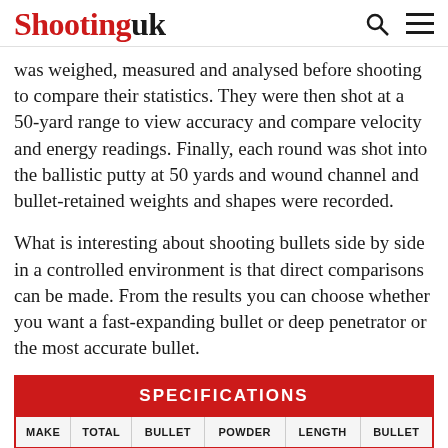Shootinguk
was weighed, measured and analysed before shooting to compare their statistics. They were then shot at a 50-yard range to view accuracy and compare velocity and energy readings. Finally, each round was shot into the ballistic putty at 50 yards and wound channel and bullet-retained weights and shapes were recorded.
What is interesting about shooting bullets side by side in a controlled environment is that direct comparisons can be made. From the results you can choose whether you want a fast-expanding bullet or deep penetrator or the most accurate bullet.
| MAKE | TOTAL | BULLET | POWDER | LENGTH | BULLET |
| --- | --- | --- | --- | --- | --- |